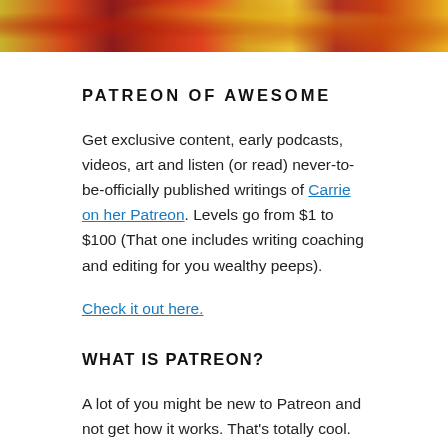[Figure (photo): Colorful abstract/artistic image strip at the top of the page with red, yellow, and orange hues]
PATREON OF AWESOME
Get exclusive content, early podcasts, videos, art and listen (or read) never-to-be-officially published writings of Carrie on her Patreon. Levels go from $1 to $100 (That one includes writing coaching and editing for you wealthy peeps).
Check it out here.
WHAT IS PATREON?
A lot of you might be new to Patreon and not get how it works. That's totally cool. New things can be scary, but there's a explanation HERE that explains how it works. The short of it